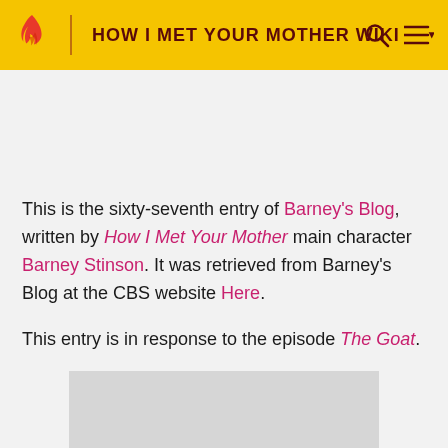HOW I MET YOUR MOTHER WIKI
This is the sixty-seventh entry of Barney's Blog, written by How I Met Your Mother main character Barney Stinson. It was retrieved from Barney's Blog at the CBS website Here.
This entry is in response to the episode The Goat.
[Figure (photo): Gray image placeholder rectangle]